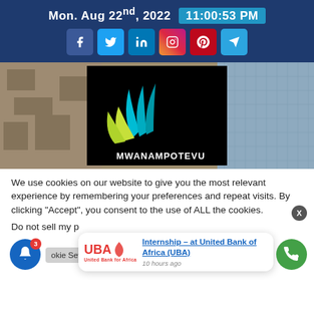Mon. Aug 22nd, 2022  11:00:53 PM
[Figure (logo): Mwanampotevu logo with cyan and green feather-like graphic on black background]
We use cookies on our website to give you the most relevant experience by remembering your preferences and repeat visits. By clicking “Accept”, you consent to the use of ALL the cookies.
Do not sell my p
[Figure (logo): UBA United Bank for Africa notification card showing Internship at United Bank of Africa (UBA), 10 hours ago]